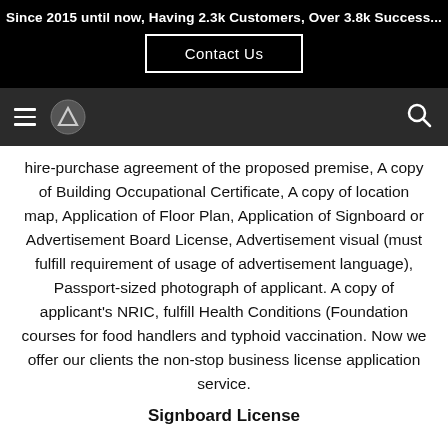Since 2015 until now, Having 2.3k Customers, Over 3.8k Success...
[Figure (other): Contact Us button on black background]
[Figure (other): Navigation bar with hamburger menu, logo, and search icon]
hire-purchase agreement of the proposed premise, A copy of Building Occupational Certificate, A copy of location map, Application of Floor Plan, Application of Signboard or Advertisement Board License, Advertisement visual (must fulfill requirement of usage of advertisement language), Passport-sized photograph of applicant. A copy of applicant's NRIC, fulfill Health Conditions (Foundation courses for food handlers and typhoid vaccination. Now we offer our clients the non-stop business license application service.
Signboard License